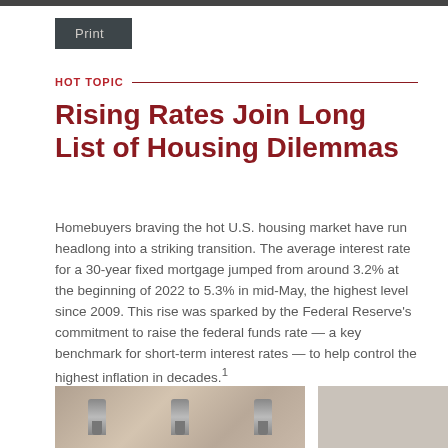Print
HOT TOPIC
Rising Rates Join Long List of Housing Dilemmas
Homebuyers braving the hot U.S. housing market have run headlong into a striking transition. The average interest rate for a 30-year fixed mortgage jumped from around 3.2% at the beginning of 2022 to 5.3% in mid-May, the highest level since 2009. This rise was sparked by the Federal Reserve's commitment to raise the federal funds rate — a key benchmark for short-term interest rates — to help control the highest inflation in decades.¹
[Figure (photo): Photo of keys on a wooden surface, partially visible at the bottom of the page]